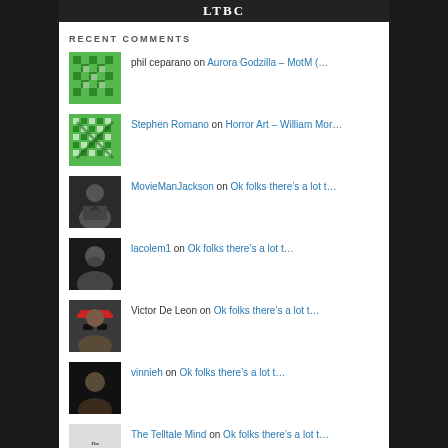[Figure (photo): Top banner with LTBC text on dark background]
RECENT COMMENTS
phil ceparano on Aurora Godzilla – MotM (…
Stephen Romano on Horror Art – William Mor…
MovieManJackson on Ok folks there's a lot t…
lacolem1 on Ok folks there's a lot t…
Victor De Leon on Ok folks there's a lot t…
vinnieh on Ok folks there's a lot t…
The Telltale Mind on Ok folks there's a lot t…